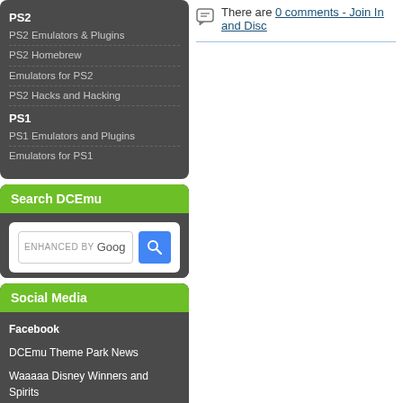PS2
PS2 Emulators & Plugins
PS2 Homebrew
Emulators for PS2
PS2 Hacks and Hacking
PS1
PS1 Emulators and Plugins
Emulators for PS1
Search DCEmu
[Figure (screenshot): Google-enhanced search box with magnifier button]
Social Media
Facebook
DCEmu Theme Park News
Waaaaa Disney Winners and Spirits
There are 0 comments - Join In and Disc...